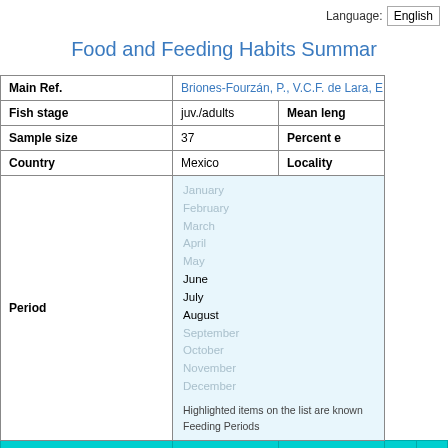Language: English
Food and Feeding Habits Summary
| Field | Value | Extra |
| --- | --- | --- |
| Main Ref. | Briones-Fourzán, P., V.C.F. de Lara, E. Lozano... |  |
| Fish stage | juv./adults | Mean leng... |
| Sample size | 37 | Percent e... |
| Country | Mexico | Locality |
| Period | January February March April May June July August September October November December
Highlighted items on the list are known Feeding Periods |  |
| Diet | Food I | Food II | Food III | F... |
| --- | --- | --- | --- | --- |